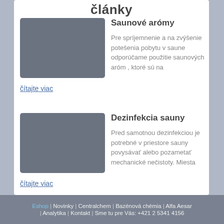články
[Figure (photo): Grey placeholder image for Saunové arómy article]
Saunové arómy
Pre spríjemnenie a na zvýšenie potešenia pobytu v saune odporúčame použitie saunových aróm , ktoré sú na
čítajte viac
[Figure (photo): Grey placeholder image for Dezinfekcia sauny article]
Dezinfekcia sauny
Pred samotnou dezinfekciou je potrebné v priestore sauny povysávať alebo pozametať mechanické nečistoty. Miesta
čítajte viac
Eshop | Novinky | Centralchem | Bazénová chémia | Alfa Aesar | Analytika | Kontakt | Sme tu pre Vás: +421 2 5341 4156